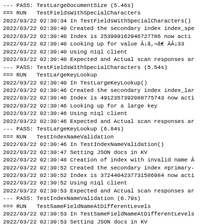--- PASS: TestLargeDocumentSize (5.46s)
=== RUN   TestFieldsWithSpecialCharacters
2022/03/22 02:30:34 In TestFieldsWithSpecialCharacters()
2022/03/22 02:30:40 Created the secondary index index_spe
2022/03/22 02:30:40 Index is 253999162946727786 now acti
2022/03/22 02:30:40 Looking up for value Â¡â,¬â€ ÃÂ¡33
2022/03/22 02:30:40 Using n1ql client
2022/03/22 02:30:40 Expected and Actual scan responses ar
--- PASS: TestFieldsWithSpecialCharacters (5.54s)
=== RUN   TestLargeKeyLookup
2022/03/22 02:30:40 In TestLargeKeyLookup()
2022/03/22 02:30:46 Created the secondary index index_lar
2022/03/22 02:30:46 Index is 4912357392088775743 now acti
2022/03/22 02:30:46 Looking up for a large key
2022/03/22 02:30:46 Using n1ql client
2022/03/22 02:30:46 Expected and Actual scan responses ar
--- PASS: TestLargeKeyLookup (6.84s)
=== RUN   TestIndexNameValidation
2022/03/22 02:30:46 In TestIndexNameValidation()
2022/03/22 02:30:47 Setting JSON docs in KV
2022/03/22 02:30:48 Creation of index with invalid name Â
2022/03/22 02:30:52 Created the secondary index #primary-
2022/03/22 02:30:52 Index is 3724404237731586984 now acti
2022/03/22 02:30:52 Using n1ql client
2022/03/22 02:30:53 Expected and Actual scan responses ar
--- PASS: TestIndexNameValidation (6.79s)
=== RUN   TestSameFieldNameAtDifferentLevels
2022/03/22 02:30:53 In TestSameFieldNameAtDifferentLevels
2022/03/22 02:30:53 Setting JSON docs in KV
2022/03/22 02:30:59 Created the secondary index cityindex